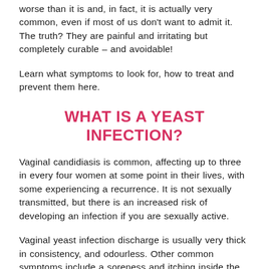worse than it is and, in fact, it is actually very common, even if most of us don't want to admit it. The truth? They are painful and irritating but completely curable – and avoidable!
Learn what symptoms to look for, how to treat and prevent them here.
WHAT IS A YEAST INFECTION?
Vaginal candidiasis is common, affecting up to three in every four women at some point in their lives, with some experiencing a recurrence. It is not sexually transmitted, but there is an increased risk of developing an infection if you are sexually active.
Vaginal yeast infection discharge is usually very thick in consistency, and odourless. Other common symptoms include a soreness and itching inside the vagina and around